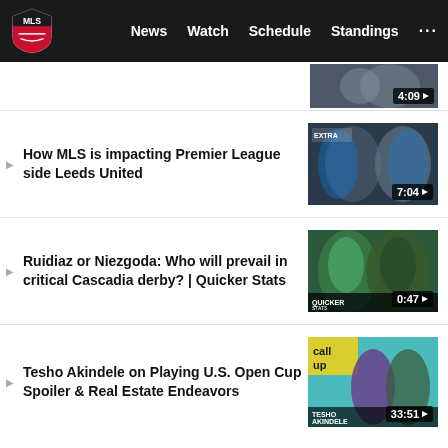MLS — News | Watch | Schedule | Standings
[Figure (screenshot): Partial video thumbnail with duration badge showing 4:09]
How MLS is impacting Premier League side Leeds United
[Figure (screenshot): Video thumbnail showing two soccer players, duration 7:04]
Ruidiaz or Niezgoda: Who will prevail in critical Cascadia derby? | Quicker Stats
[Figure (screenshot): Quicker Stats video thumbnail showing two players, duration 0:47]
Tesho Akindele on Playing U.S. Open Cup Spoiler & Real Estate Endeavors
[Figure (screenshot): The Call Up video thumbnail with Tesho Akindele, duration 33:51]